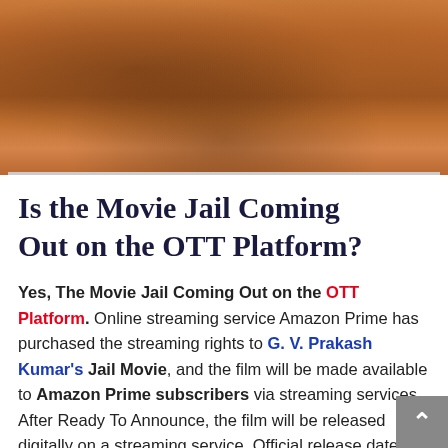[Figure (photo): Cropped photo showing people sitting, warm brown/orange tones, appears to be a movie scene]
Is the Movie Jail Coming Out on the OTT Platform?
Yes, The Movie Jail Coming Out on the OTT Platform. Online streaming service Amazon Prime has purchased the streaming rights to G. V. Prakash Kumar's Jail Movie, and the film will be made available to Amazon Prime subscribers via streaming services. After Ready To Announce, the film will be released digitally on a streaming service. Official release date announcements will be made as soon as